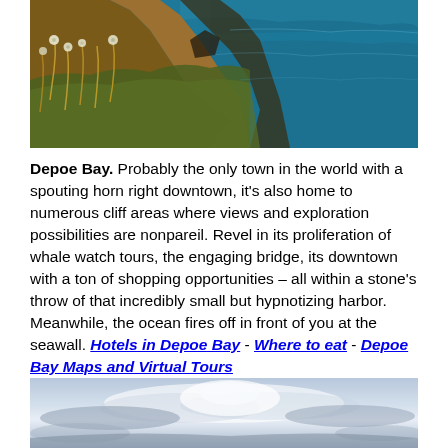[Figure (photo): Coastal cliff with golden-brown grasses and wildflowers in foreground, blue ocean in background]
Depoe Bay. Probably the only town in the world with a spouting horn right downtown, it's also home to numerous cliff areas where views and exploration possibilities are nonpareil. Revel in its proliferation of whale watch tours, the engaging bridge, its downtown with a ton of shopping opportunities – all within a stone's throw of that incredibly small but hypnotizing harbor. Meanwhile, the ocean fires off in front of you at the seawall. Hotels in Depoe Bay - Where to eat - Depoe Bay Maps and Virtual Tours
[Figure (photo): Overcast sky with blue-grey clouds and soft light breaking through]